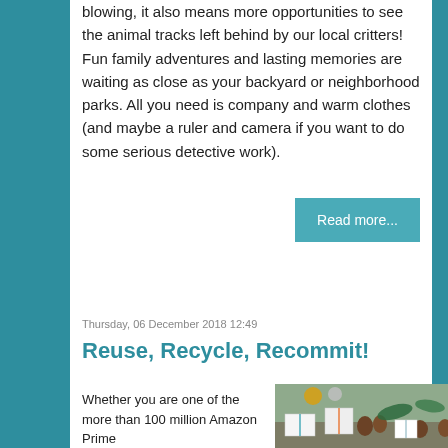blowing, it also means more opportunities to see the animal tracks left behind by our local critters! Fun family adventures and lasting memories are waiting as close as your backyard or neighborhood parks. All you need is company and warm clothes (and maybe a ruler and camera if you want to do some serious detective work).
Read more...
Thursday, 06 December 2018 12:49
Reuse, Recycle, Recommit!
Whether you are one of the more than 100 million Amazon Prime
[Figure (photo): Holiday / Christmas themed photo showing wrapped gifts with pine cones, ornaments, and greenery on a table]